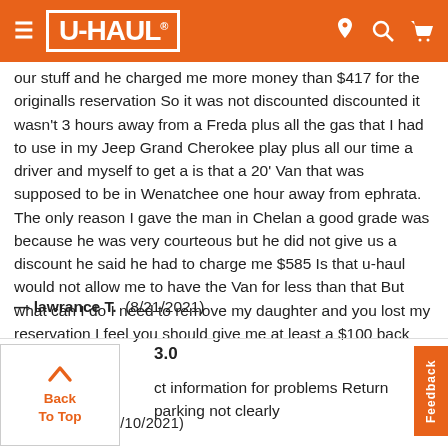U-HAUL
our stuff and he charged me more money than $417 for the originalls reservation So it was not discounted discounted it wasn't 3 hours away from a Freda plus all the gas that I had to use in my Jeep Grand Cherokee play plus all our time a driver and myself to get a is that a 20' Van that was supposed to be in Wenatchee one hour away from ephrata. The only reason I gave the man in Chelan a good grade was because he was very courteous but he did not give us a discount he said he had to charge me $585 Is that u-haul would not allow me to have the Van for less than that But what can I do I need to remove my daughter and you lost my reservation I feel you should give me at least a $100 back
— lawrance T.  (8/21/2021)
3.0
ct information for problems Return parking not clearly
— DAVID B.  (8/10/2021)